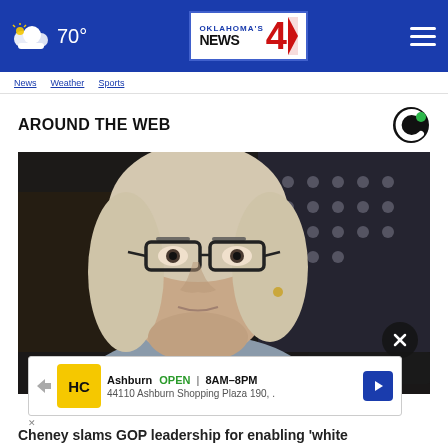Oklahoma's News 4 — 70°
AROUND THE WEB
[Figure (photo): Close-up photo of a woman with blonde hair and glasses, seated at what appears to be a congressional or official hearing room, with an American flag visible in the background.]
Ashburn  OPEN | 8AM–8PM  44110 Ashburn Shopping Plaza 190,
Cheney slams GOP leadership for enabling 'white